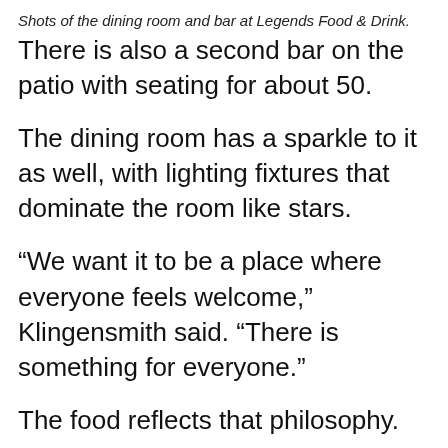Shots of the dining room and bar at Legends Food & Drink.
There is also a second bar on the patio with seating for about 50.
The dining room has a sparkle to it as well, with lighting fixtures that dominate the room like stars.
“We want it to be a place where everyone feels welcome,” Klingensmith said. “There is something for everyone.”
The food reflects that philosophy.
Santangelo has created a menu that is